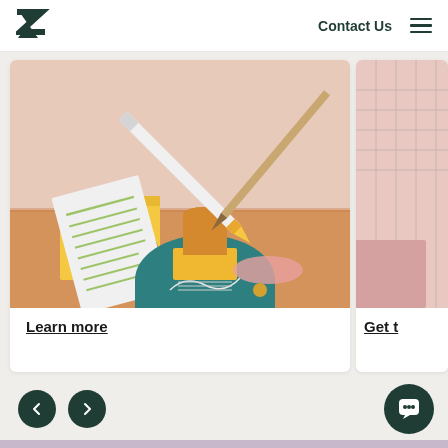[Figure (logo): Zendesk logo - stylized Z letterform in dark teal]
Contact Us
[Figure (illustration): Colorful 3D-style photo of geometric shapes, pencils, and office supplies arranged artistically on a peach/orange background]
Learn more
[Figure (photo): Partial view of a second card with pink and grid/planner imagery]
Get t